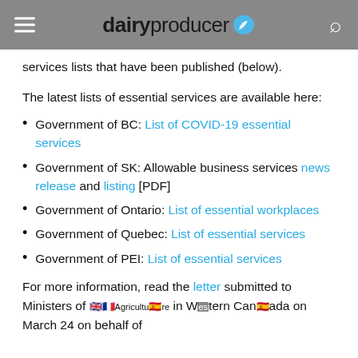dairyproducer
services lists that have been published (below).
The latest lists of essential services are available here:
Government of BC: List of COVID-19 essential services
Government of SK: Allowable business services news release and listing [PDF]
Government of Ontario: List of essential workplaces
Government of Quebec: List of essential services
Government of PEI: List of essential services
For more information, read the letter submitted to Ministers of Agriculture in Western Canada on March 24 on behalf of the...